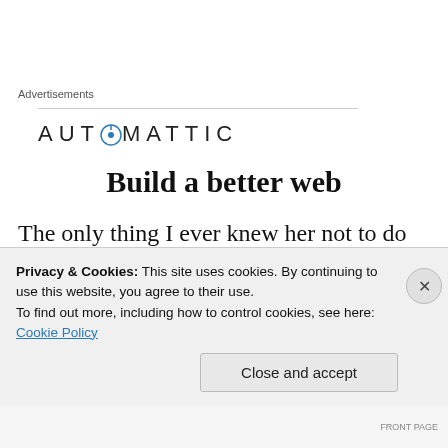Advertisements
[Figure (logo): Automattic logo with compass icon replacing the 'O']
Build a better web
The only thing I ever knew her not to do was drive. I asked her one time why she couldn't drive, and she got a twinkle in her eye and said, "I don't want to drive, I want to be
Privacy & Cookies: This site uses cookies. By continuing to use this website, you agree to their use.
To find out more, including how to control cookies, see here: Cookie Policy
Close and accept